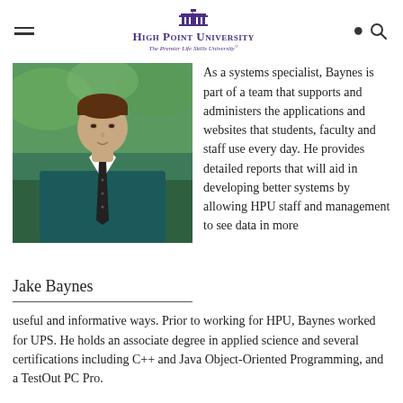High Point University – The Premier Life Skills University
[Figure (photo): Headshot of Jake Baynes wearing a dark teal dress shirt and black patterned tie, photographed outdoors with green foliage in the background.]
Jake Baynes
As a systems specialist, Baynes is part of a team that supports and administers the applications and websites that students, faculty and staff use every day. He provides detailed reports that will aid in developing better systems by allowing HPU staff and management to see data in more useful and informative ways. Prior to working for HPU, Baynes worked for UPS. He holds an associate degree in applied science and several certifications including C++ and Java Object-Oriented Programming, and a TestOut PC Pro.